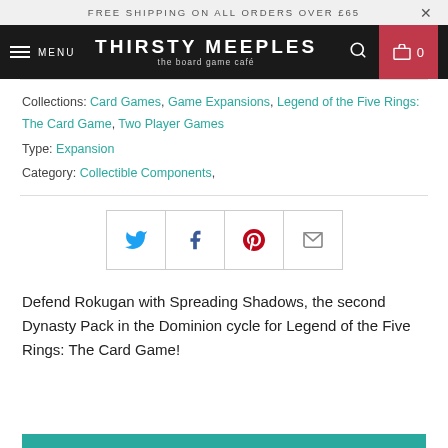FREE SHIPPING ON ALL ORDERS OVER £65
THIRSTY MEEPLES the board game café MENU 0
Collections: Card Games, Game Expansions, Legend of the Five Rings: The Card Game, Two Player Games
Type: Expansion
Category: Collectible Components,
[Figure (infographic): Social share buttons: Twitter, Facebook, Pinterest, Email]
Defend Rokugan with Spreading Shadows, the second Dynasty Pack in the Dominion cycle for Legend of the Five Rings: The Card Game!